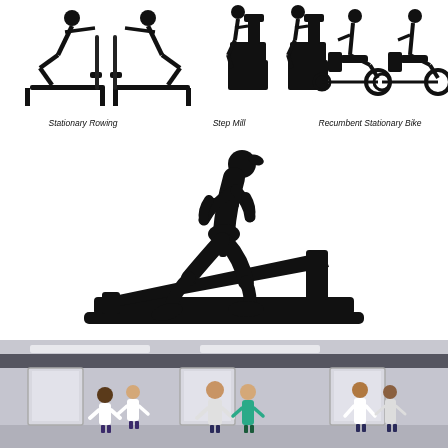[Figure (illustration): Icons of gym/fitness equipment: two people using stationary rowing machines, two people on step mill machines, two people on recumbent stationary bikes. Labels below read: 'Stationary Rowing', 'Step Mill', 'Recumbent Stationary Bike']
Stationary Rowing    Step Mill    Recumbent Stationary Bike
[Figure (illustration): Black silhouette of a woman running on a treadmill]
[Figure (illustration): Cartoon illustration of a medical office hallway with multiple doctors and medical staff standing in front of doors]